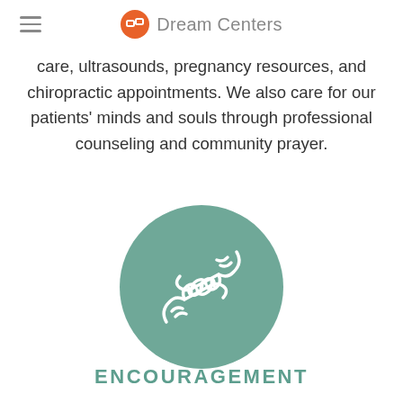Dream Centers
care, ultrasounds, pregnancy resources, and chiropractic appointments. We also care for our patients' minds and souls through professional counseling and community prayer.
[Figure (illustration): Teal circular icon with a white outline illustration of two hands touching/reaching toward each other]
ENCOURAGEMENT